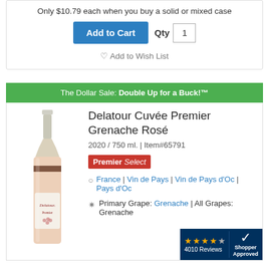Only $10.79 each when you buy a solid or mixed case
Add to Cart  Qty 1
Add to Wish List
The Dollar Sale: Double Up for a Buck!™
Delatour Cuvée Premier Grenache Rosé
2020 / 750 ml. | Item#65791
Premier Select
France | Vin de Pays | Vin de Pays d'Oc | Pays d'Oc
Primary Grape: Grenache | All Grapes: Grenache
[Figure (photo): Bottle of Delatour Cuvée Premier Grenache Rosé wine with light green/cream label]
4010 Reviews  Shopper Approved